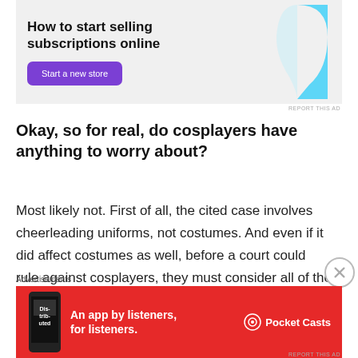[Figure (illustration): Advertisement banner: 'How to start selling subscriptions online' with a purple 'Start a new store' button and a light blue abstract graphic shape on the right side]
REPORT THIS AD
Okay, so for real, do cosplayers have anything to worry about?
Most likely not. First of all, the cited case involves cheerleading uniforms, not costumes. And even if it did affect costumes as well, before a court could rule against cosplayers, they must consider all of the elements of fair use and whether the cosplayer's use of the costume negatively affected the original work. This would need to
Advertisements
[Figure (illustration): Advertisement banner for Pocket Casts: red background with text 'An app by listeners, for listeners.' and a phone showing 'Distributed' text, Pocket Casts logo on right]